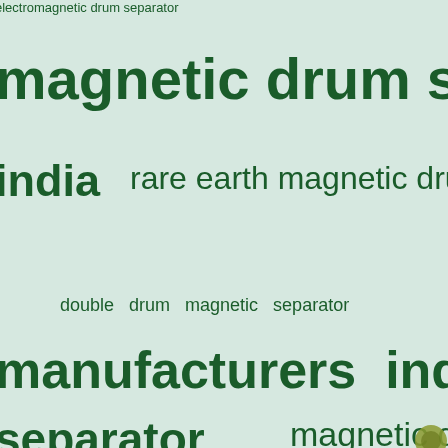[Figure (infographic): A word cloud on a light mint/green background featuring terms related to magnetic drum separators. Words appear in varying font sizes in dark green color. Key terms include: electromagnetic drum separator, magnetic drum separator, india, rare earth magnetic drum, double drum magnetic separator, manufacturers india, separator, magnetic drum separator price, wet drum, used magnetic drum separator, separator design, wet drum magnetic, magnetic drum separator.]